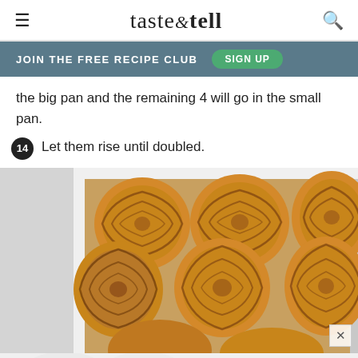taste & tell
JOIN THE FREE RECIPE CLUB   SIGN UP
the big pan and the remaining 4 will go in the small pan.
14 Let them rise until doubled.
[Figure (photo): Cinnamon rolls arranged in a baking pan, viewed from above, showing golden-orange dough with cinnamon swirls, risen and touching each other.]
[Figure (photo): Partial view of another photo below, showing a white background with partial text overlay.]